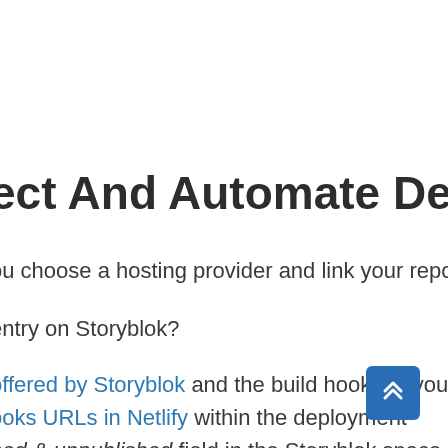ect And Automate Deploy
ou choose a hosting provider and link your reposito
entry on Storyblok?
offered by Storyblok and the build hooks of your h
ooks URLs in Netlify within the deployment ion;
hed & unpublished field in the Storyblok space.